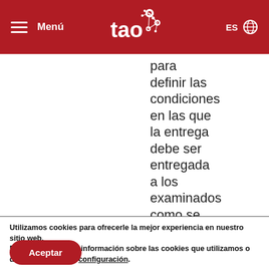Menú | tao | ES
para definir las condiciones en las que la entrega debe ser entregada a los examinados como se
Utilizamos cookies para ofrecerle la mejor experiencia en nuestro sitio web. Puede obtener más información sobre las cookies que utilizamos o desactivarlas en la configuración.
Aceptar